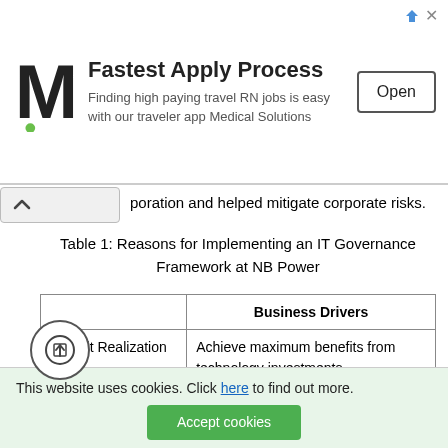[Figure (other): Advertisement banner for Medical Solutions showing M logo, 'Fastest Apply Process' heading, subtitle about travel RN jobs, and an Open button]
poration and helped mitigate corporate risks.
Table 1: Reasons for Implementing an IT Governance Framework at NB Power
|  | Business Drivers |
| --- | --- |
| Benefit Realization | Achieve maximum benefits from technology investments. |
| Economies of Scale | Gain economies of scale in IT investments. |
| Maximize Human Capital | Maximize human resource management. |
| St. | and procedures for IT |